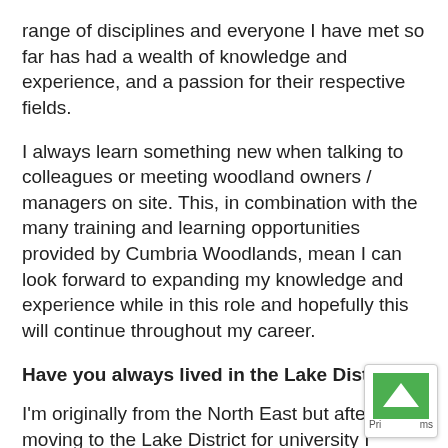range of disciplines and everyone I have met so far has had a wealth of knowledge and experience, and a passion for their respective fields.
I always learn something new when talking to colleagues or meeting woodland owners / managers on site. This, in combination with the many training and learning opportunities provided by Cumbria Woodlands, mean I can look forward to expanding my knowledge and experience while in this role and hopefully this will continue throughout my career.
Have you always lived in the Lake District?
I'm originally from the North East but after moving to the Lake District for university I couldn't leave...
There's a reason so many people visit the